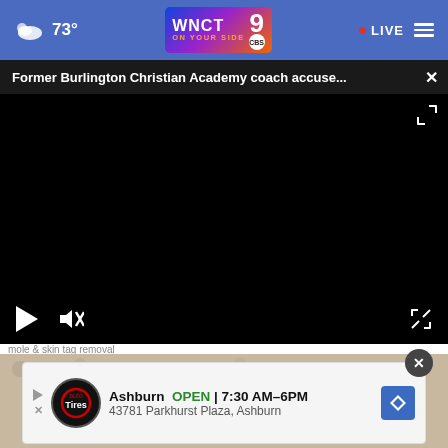73° WNCT 9 ON YOUR SIDE • LIVE
Former Burlington Christian Academy coach accuse...
[Figure (screenshot): Black video player area with play button, mute button (crossed out speaker), and fullscreen icon]
mole & skin tag removal
[Figure (photo): Background photo with speckled stone or ground texture]
Ashburn OPEN | 7:30 AM–6PM 43781 Parkhurst Plaza, Ashburn